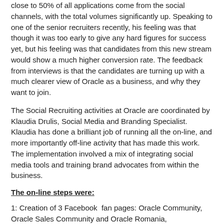close to 50% of all applications come from the social channels, with the total volumes significantly up. Speaking to one of the senior recruiters recently, his feeling was that though it was too early to give any hard figures for success yet, but his feeling was that candidates from this new stream would show a much higher conversion rate. The feedback from interviews is that the candidates are turning up with a much clearer view of Oracle as a business, and why they want to join.
The Social Recruiting activities at Oracle are coordinated by Klaudia Drulis, Social Media and Branding Specialist. Klaudia has done a brilliant job of running all the on-line, and more importantly off-line activity that has made this work. The implementation involved a mix of integrating social media tools and training brand advocates from within the business.
The on-line steps were:
1: Creation of 3 Facebook  fan pages: Oracle Community, Oracle Sales Community and Oracle Romania,
2: Integration of the ATS with the work4labs Facebook app, behind a tab labeled “Work4Oracle”.
3: Integration of Bullhorn Reach with the recruiting team.